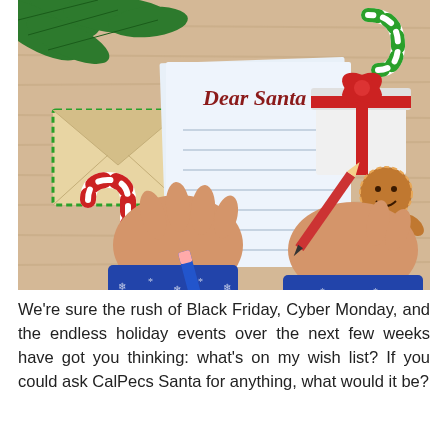[Figure (illustration): Christmas-themed illustration showing hands writing 'Dear Santa' on a letter, surrounded by holiday items: candy canes, an envelope, a wrapped gift with red bow, a gingerbread man cookie, and pine tree branches. The person is wearing a blue winter sweater with snowflake pattern.]
We're sure the rush of Black Friday, Cyber Monday, and the endless holiday events over the next few weeks have got you thinking: what's on my wish list? If you could ask CalPecs Santa for anything, what would it be?